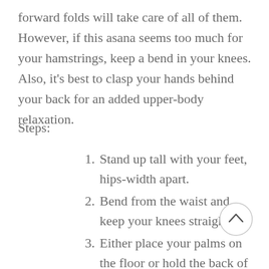forward folds will take care of all of them. However, if this asana seems too much for your hamstrings, keep a bend in your knees. Also, it's best to clasp your hands behind your back for an added upper-body relaxation.
Steps:
1. Stand up tall with your feet, hips-width apart.
2. Bend from the waist and keep your knees straight.
3. Either place your palms on the floor or hold the back of your ankles.